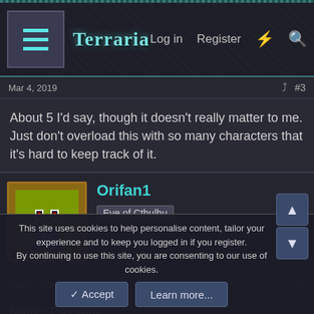[Figure (screenshot): Terraria forum website navigation bar with hamburger menu, Terraria logo, Log in, Register, lightning bolt, and search icons]
Mar 4, 2019
#3
About 5 I'd say, though it doesn't really matter to me. Just don't overload this with so many characters that it's hard to keep track of it.
[Figure (photo): Orifan1 user avatar - pixel art character with large eyes]
Orifan1
Eye of Cthulhu
Mar 4, 2019
#4
Name: Program
Age: behavior-wise he's sixteen. but he's been active for only 22
This site uses cookies to help personalise content, tailor your experience and to keep you logged in if you register.
By continuing to use this site, you are consenting to our use of cookies.